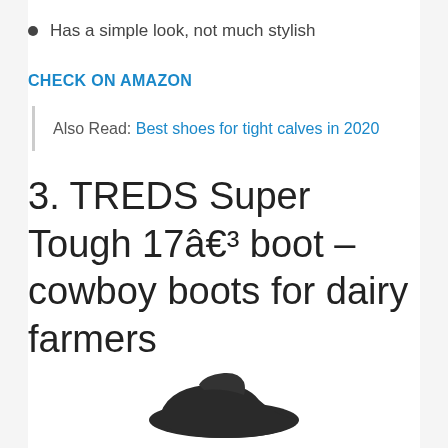Has a simple look, not much stylish
CHECK ON AMAZON
Also Read: Best shoes for tight calves in 2020
3. TREDS Super Tough 17â€³ boot – cowboy boots for dairy farmers
[Figure (photo): Partial image of a dark cowboy boot at the bottom of the page]